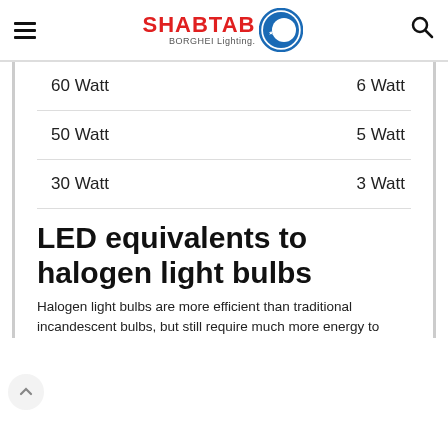SHABTAB BORGHEI Lighting.
| Halogen | LED |
| --- | --- |
| 60 Watt | 6 Watt |
| 50 Watt | 5 Watt |
| 30 Watt | 3 Watt |
LED equivalents to halogen light bulbs
Halogen light bulbs are more efficient than traditional incandescent bulbs, but still require much more energy to